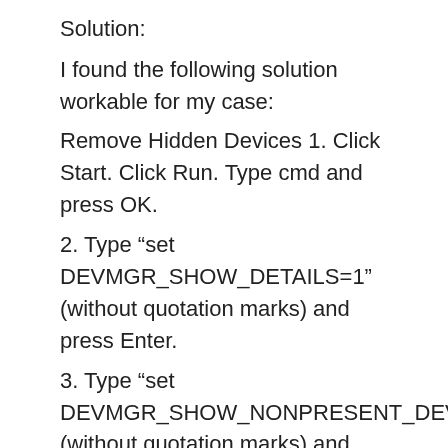Solution:
I found the following solution workable for my case:
Remove Hidden Devices 1. Click Start. Click Run. Type cmd and press OK.
2. Type “set DEVMGR_SHOW_DETAILS=1” (without quotation marks) and press Enter.
3. Type “set DEVMGR_SHOW_NONPRESENT_DEVICES=1” (without quotation marks) and Press Enter.
4. Type “start devmgmt.msc” (without quotation marks) and click press Enter.
5. Click View. Click Show hidden devices.
6. Click “+” to expand Imaging devices,